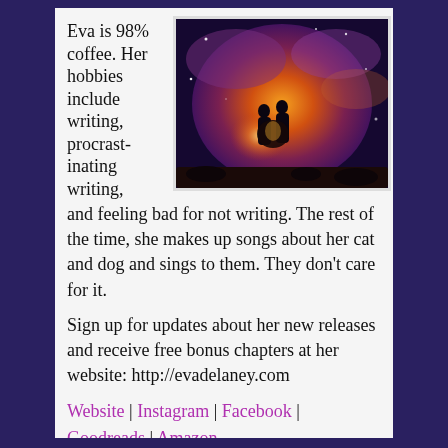Eva is 98% coffee. Her hobbies include writing, procrastinating writing, and feeling bad for not writing. The rest of the time, she makes up songs about her cat and dog and sings to them. They don't care for it.
[Figure (photo): A romantic silhouette of a couple embracing against a dramatic cosmic/nebula background with glowing orange and purple tones]
Sign up for updates about her new releases and receive free bonus chapters at her website: http://evadelaney.com
Website | Instagram | Facebook | Goodreads | Amazon | BookBub